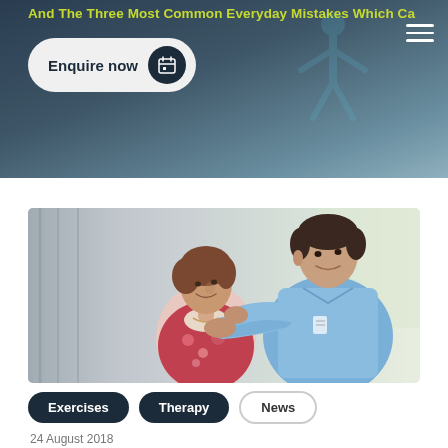And The Three Most Common Everyday Mistakes Which Ca...
[Figure (photo): Enquire now button with calendar icon on dark background header banner]
[Figure (photo): Physiotherapist treating an elderly woman's neck/shoulder area - man in light blue shirt placing hands on seated older woman's shoulders]
Exercises
Therapy
News
24 August 2018
Physio For Neck Pain – What...